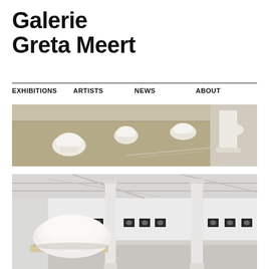Galerie
Greta Meert
EXHIBITIONS   ARTISTS   NEWS   ABOUT
[Figure (photo): Gallery installation view from above showing white sculptural forms scattered on a tan/olive floor, with a white pedestal visible at right]
[Figure (photo): Gallery interior with white walls and ceiling, two white columns, a large white sculptural form on a wooden pallet in foreground, and a row of small framed photographs on the back wall]